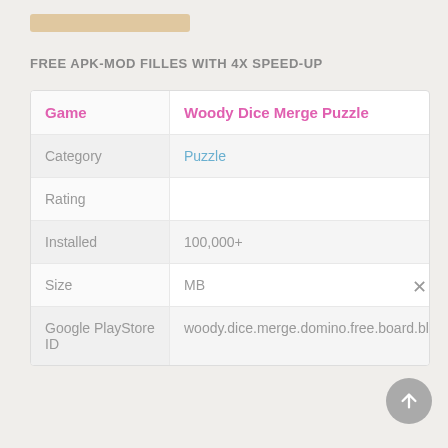FREE APK-MOD FILLES WITH 4X SPEED-UP
| Game | Woody Dice Merge Puzzle |
| --- | --- |
| Category | Puzzle |
| Rating |  |
| Installed | 100,000+ |
| Size | MB |
| Google PlayStore ID | woody.dice.merge.domino.free.board.block.puzzle. |